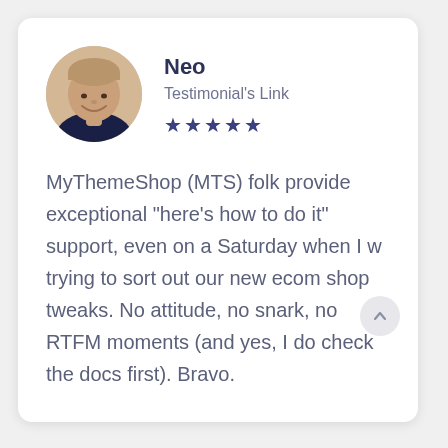[Figure (photo): Circular avatar photo of a man with short hair wearing a dark shirt, smiling.]
Neo
Testimonial's Link
[Figure (other): Five filled star rating icons in dark navy/blue color.]
MyThemeShop (MTS) folk provide exceptional "here's how to do it" support, even on a Saturday when I w trying to sort out our new ecom shop tweaks. No attitude, no snark, no RTFM moments (and yes, I do check the docs first). Bravo.